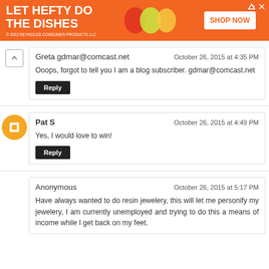[Figure (screenshot): Advertisement banner for Hefty dish soap. Orange background with white bold text 'LET HEFTY DO THE DISHES'. Shows product images and a 'SHOP NOW' button. Copyright 2022 Reynolds Consumer Products LLC.]
Greta gdmar@comcast.net
October 26, 2015 at 4:35 PM
Ooops, forgot to tell you I am a blog subscriber. gdmar@comcast.net
Reply
Pat S
October 26, 2015 at 4:49 PM
Yes, I would love to win!
Reply
Anonymous
October 26, 2015 at 5:17 PM
Have always wanted to do resin jewelery, this will let me personify my jewelery, I am currently unemployed and trying to do this a means of income while I get back on my feet.